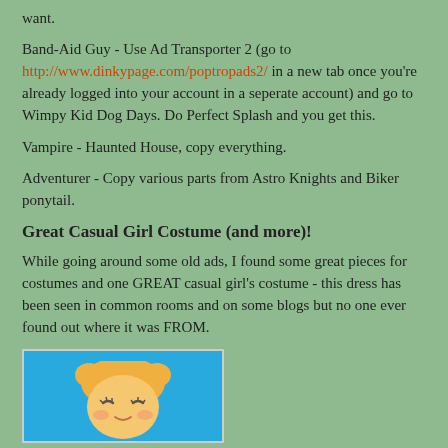want.
Band-Aid Guy - Use Ad Transporter 2 (go to http://www.dinkypage.com/poptropads2/ in a new tab once you're already logged into your account in a seperate account) and go to Wimpy Kid Dog Days. Do Perfect Splash and you get this.
Vampire - Haunted House, copy everything.
Adventurer - Copy various parts from Astro Knights and Biker ponytail.
Great Casual Girl Costume (and more)!
While going around some old ads, I found some great pieces for costumes and one GREAT casual girl's costume - this dress has been seen in common rooms and on some blogs but no one ever found out where it was FROM.
[Figure (illustration): Cartoon character head with blonde hair on a blue background]